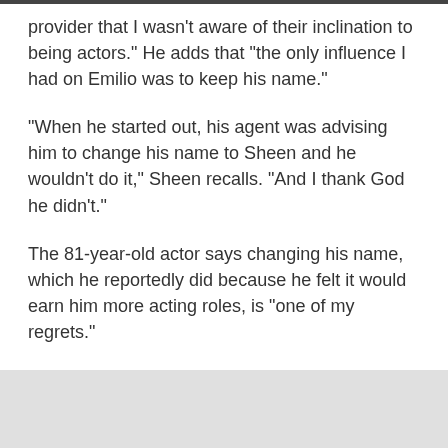provider that I wasn't aware of their inclination to being actors." He adds that "the only influence I had on Emilio was to keep his name."
"When he started out, his agent was advising him to change his name to Sheen and he wouldn't do it," Sheen recalls. "And I thank God he didn't."
The 81-year-old actor says changing his name, which he reportedly did because he felt it would earn him more acting roles, is "one of my regrets."